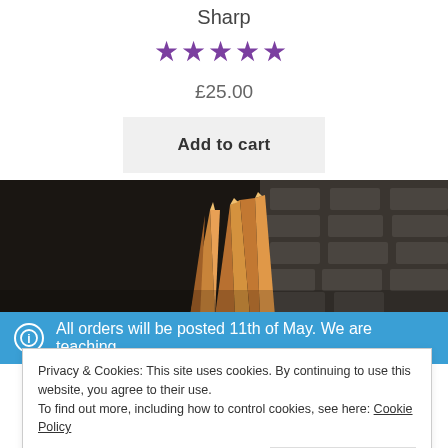Sharp
[Figure (infographic): Five filled purple/violet star rating icons]
£25.00
Add to cart
[Figure (photo): Product photo showing sharp wooden or metallic pointed shapes against a dark background with brick wall]
All orders will be posted 11th of May. We are teaching
Privacy & Cookies: This site uses cookies. By continuing to use this website, you agree to their use. To find out more, including how to control cookies, see here: Cookie Policy
Close and accept